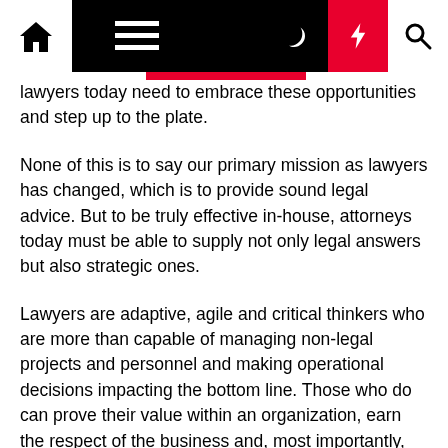Navigation bar with home, menu, moon, lightning, and search icons
lawyers today need to embrace these opportunities and step up to the plate.
None of this is to say our primary mission as lawyers has changed, which is to provide sound legal advice. But to be truly effective in-house, attorneys today must be able to supply not only legal answers but also strategic ones.
Lawyers are adaptive, agile and critical thinkers who are more than capable of managing non-legal projects and personnel and making operational decisions impacting the bottom line. Those who do can prove their value within an organization, earn the respect of the business and, most importantly, position themselves as successful leaders.
This article does not necessarily reflect the opinion of